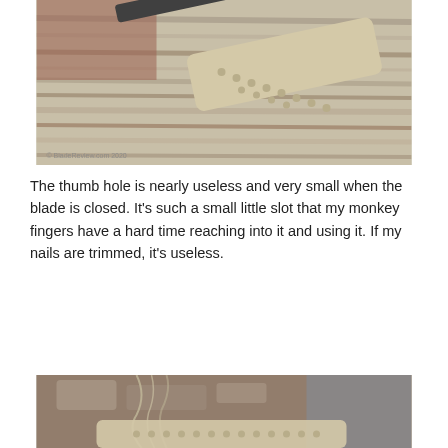[Figure (photo): Close-up photo of a folding knife with a tan/beige textured handle featuring circular hole patterns, resting on weathered gray wood planks with reddish-brown gravel visible in the upper left. A small watermark appears in the lower left corner.]
The thumb hole is nearly useless and very small when the blade is closed. It's such a small little slot that my monkey fingers have a hard time reaching into it and using it. If my nails are trimmed, it's useless.
[Figure (photo): Photo of a folding knife with tan textured handle resting against a rough stone or bark surface with Spanish moss visible, and a blurred outdoor background with a vehicle and trees.]